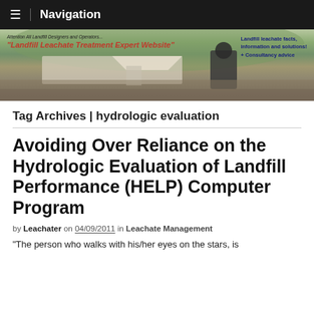Navigation
[Figure (photo): Website banner for Landfill Leachate Treatment Expert Website showing a landfill site with treatment equipment, tents, and tanks in the background with hills. Left side reads: Attention All Landfill Designers and Operators... "Landfill Leachate Treatment Expert Website". Right side reads: Landfill leachate facts, information and solutions! + Consultancy advice]
Tag Archives | hydrologic evaluation
Avoiding Over Reliance on the Hydrologic Evaluation of Landfill Performance (HELP) Computer Program
by Leachater on 04/09/2011 in Leachate Management
“The person who walks with his/her eyes on the stars, is